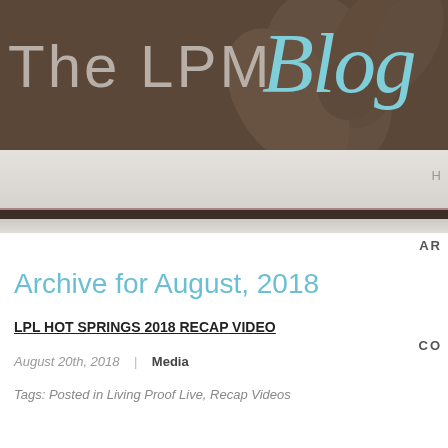The LPM Blog
Archive for August, 2018
LPL HOT SPRINGS 2018 RECAP VIDEO
August 20th, 2018 | Media
Tags: Posted in Living Proof Live, Recap Videos